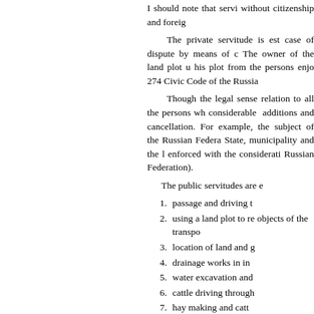I should note that servi... without citizenship and foreig...
The private servitude is est... case of dispute by means of c... The owner of the land plot u... his plot from the persons enjo... 274 Civic Code of the Russia...
Though the legal sense ... relation to all the persons wh... considerable additions and ... cancellation. For example, the... subject of the Russian Federa... State, municipality and the l... enforced with the considerati... Russian Federation).
The public servitudes are e...
passage and driving t...
using a land plot to re... objects of the transpo...
location of land and g...
drainage works in in...
water excavation and...
cattle driving through...
hay making and catt...